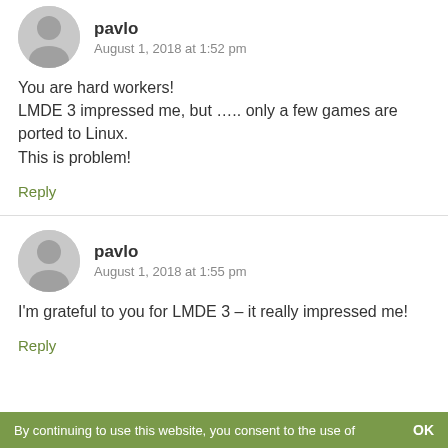[Figure (illustration): Grey avatar/profile icon (partial, top of page)]
pavlo
August 1, 2018 at 1:52 pm
You are hard workers!
LMDE 3 impressed me, but ….. only a few games are ported to Linux.
This is problem!
Reply
[Figure (illustration): Grey avatar/profile icon for pavlo]
pavlo
August 1, 2018 at 1:55 pm
I'm grateful to you for LMDE 3 – it really impressed me!
Reply
By continuing to use this website, you consent to the use of    OK